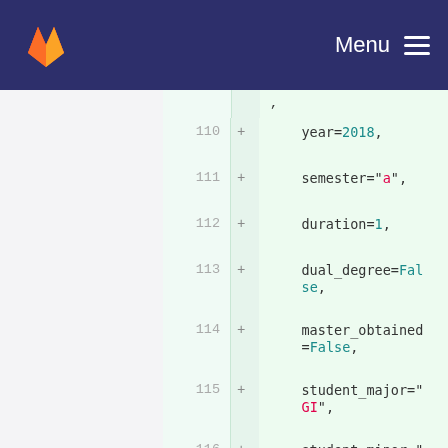[Figure (screenshot): GitLab navigation bar with fox logo and Menu hamburger icon on dark blue background]
[Figure (screenshot): Git diff view showing code additions for lines 110-117: year=2018, semester='a', duration=1, dual_degree=False, master_obtained=False, student_major='GI', student_minor='FDD', student_option= (partial)]